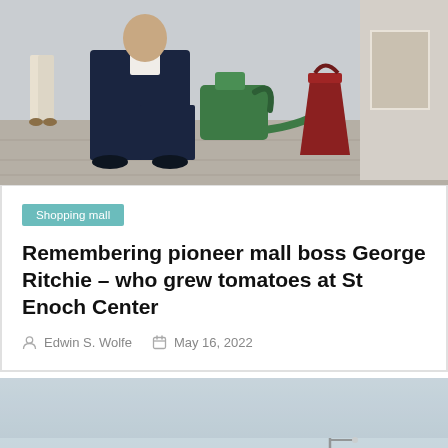[Figure (photo): Photo showing a person in a dark suit sitting with a green watering can and red bucket, possibly inside a shopping mall. Another person's legs visible in background.]
Shopping mall
Remembering pioneer mall boss George Ritchie – who grew tomatoes at St Enoch Center
Edwin S. Wolfe   May 16, 2022
[Figure (photo): Outdoor photo showing a misty or foggy scene with a structure, possibly a shopping center or public venue exterior, with a scroll-to-top button overlay in the bottom right corner.]